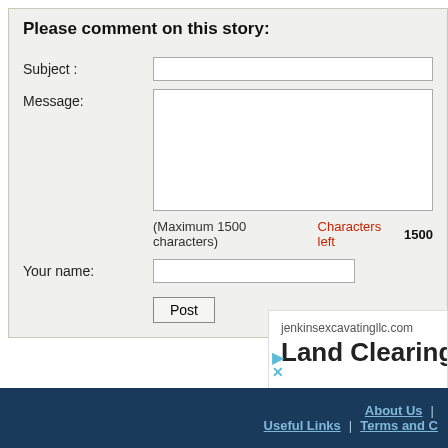Please comment on this story:
Subject :
Message:
(Maximum 1500 characters) Characters left 1500
Your name:
Post
[Figure (other): Advertisement banner for jenkinsexcavatingllc.com showing 'Land Clearing &' text]
About Us | Useful Links | Terms and C...